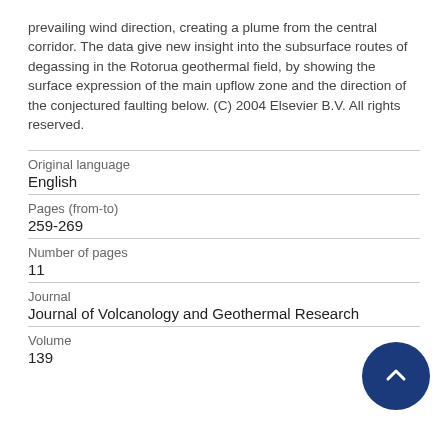prevailing wind direction, creating a plume from the central corridor. The data give new insight into the subsurface routes of degassing in the Rotorua geothermal field, by showing the surface expression of the main upflow zone and the direction of the conjectured faulting below. (C) 2004 Elsevier B.V. All rights reserved.
| Field | Value |
| --- | --- |
| Original language | English |
| Pages (from-to) | 259-269 |
| Number of pages | 11 |
| Journal | Journal of Volcanology and Geothermal Research |
| Volume | 139 |